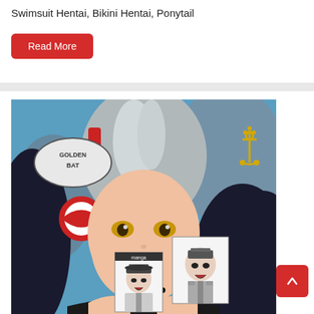Swimsuit Hentai, Bikini Hentai, Ponytail
Read More
[Figure (illustration): Anime illustration of a girl with gray-black hair, yellow eyes, wearing a black outfit with a choker, with smaller manga-style inset images, and 'Golden Bat' logo and anchor emblem visible in the background]